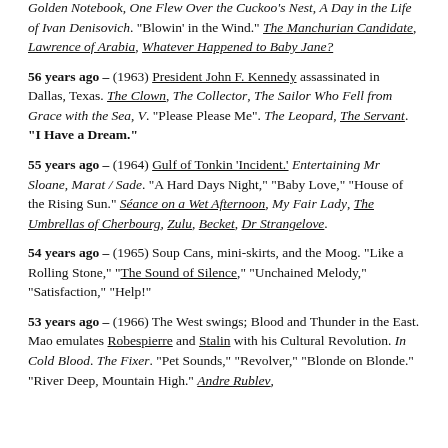Golden Notebook, One Flew Over the Cuckoo's Nest, A Day in the Life of Ivan Denisovich. "Blowin' in the Wind." The Manchurian Candidate, Lawrence of Arabia, Whatever Happened to Baby Jane?
56 years ago – (1963) President John F. Kennedy assassinated in Dallas, Texas. The Clown, The Collector, The Sailor Who Fell from Grace with the Sea, V. "Please Please Me". The Leopard, The Servant. "I Have a Dream."
55 years ago – (1964) Gulf of Tonkin 'Incident.' Entertaining Mr Sloane, Marat / Sade. "A Hard Days Night," "Baby Love," "House of the Rising Sun." Séance on a Wet Afternoon, My Fair Lady, The Umbrellas of Cherbourg, Zulu, Becket, Dr Strangelove.
54 years ago – (1965) Soup Cans, mini-skirts, and the Moog. "Like a Rolling Stone," "The Sound of Silence," "Unchained Melody," "Satisfaction," "Help!"
53 years ago – (1966) The West swings; Blood and Thunder in the East. Mao emulates Robespierre and Stalin with his Cultural Revolution. In Cold Blood. The Fixer. "Pet Sounds," "Revolver," "Blonde on Blonde." "River Deep, Mountain High." Andre Rublev,